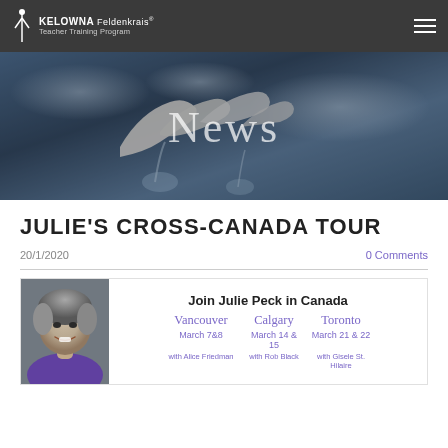KELOWNA Feldenkrais Teacher Training Program
[Figure (photo): Hero banner image showing white bird/dolphin sculptures against a dramatic blue cloudy sky with fountains, with 'News' text overlay]
JULIE'S CROSS-CANADA TOUR
20/1/2020
0 Comments
[Figure (infographic): Promotional flyer for Julie Peck in Canada tour. Shows Julie Peck's photo on left. Text: 'Join Julie Peck in Canada'. Three cities: Vancouver March 7&8 with Alice Friedman, Calgary March 14 & 15 with Rob Black, Toronto March 21 & 22 with Gisele St. Hilaire]